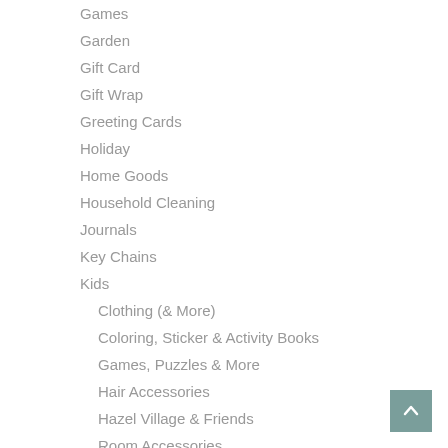Games
Garden
Gift Card
Gift Wrap
Greeting Cards
Holiday
Home Goods
Household Cleaning
Journals
Key Chains
Kids
Clothing (& More)
Coloring, Sticker & Activity Books
Games, Puzzles & More
Hair Accessories
Hazel Village & Friends
Room Accessories